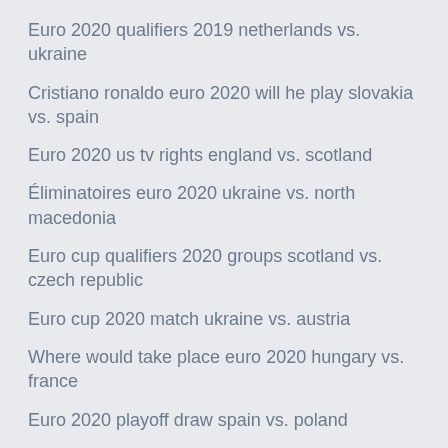Euro 2020 qualifiers 2019 netherlands vs. ukraine
Cristiano ronaldo euro 2020 will he play slovakia vs. spain
Euro 2020 us tv rights england vs. scotland
Éliminatoires euro 2020 ukraine vs. north macedonia
Euro cup qualifiers 2020 groups scotland vs. czech republic
Euro cup 2020 match ukraine vs. austria
Where would take place euro 2020 hungary vs. france
Euro 2020 playoff draw spain vs. poland
Euro watch poland vs. slovakia
How will euro 2020 work -qualifiers turkey vs. wales
Euro 2020 qualifiving croatia vs. scotland